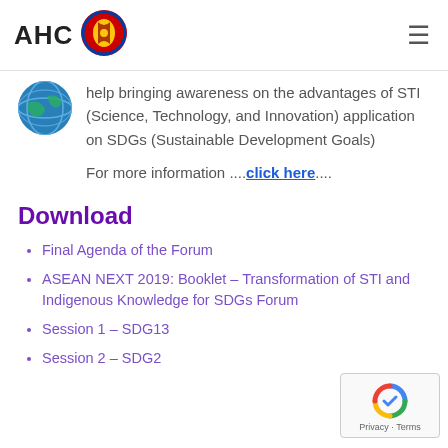AHC [ASEAN logo]
[Figure (logo): ASEAN logo circle with hourglass/people motif in red, yellow, blue colors]
[Figure (photo): Circular globe/earth photo thumbnail]
help bringing awareness on the advantages of STI (Science, Technology, and Innovation) application on SDGs (Sustainable Development Goals)
For more information ....click here....
Download
Final Agenda of the Forum
ASEAN NEXT 2019: Booklet – Transformation of STI and Indigenous Knowledge for SDGs Forum
Session 1 – SDG13
Session 2 – SDG2